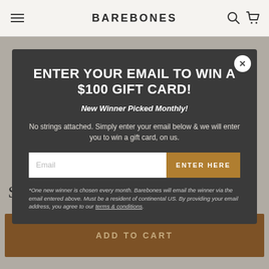BAREBONES
ENTER YOUR EMAIL TO WIN A $100 GIFT CARD!
New Winner Picked Monthly!
No strings attached. Simply enter your email below & we will enter you to win a gift card, on us.
Email | ENTER HERE
*One new winner is chosen every month. Barebones will email the winner via the email entered above. Must be a resident of continental US. By providing your email address, you agree to our terms & conditions.
$699.99
ADD TO CART